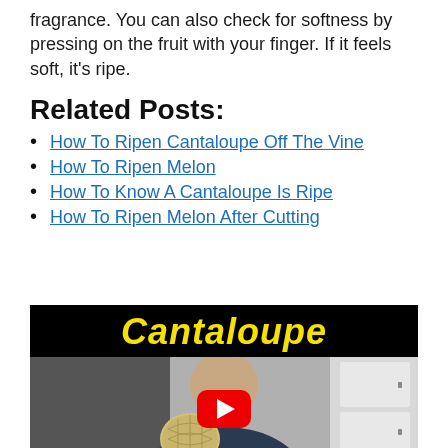fragrance. You can also check for softness by pressing on the fruit with your finger. If it feels soft, it's ripe.
Related Posts:
How To Ripen Cantaloupe Off The Vine
How To Ripen Melon
How To Know A Cantaloupe Is Ripe
How To Ripen Melon After Cutting
[Figure (screenshot): YouTube video thumbnail showing a man holding a cantaloupe in a kitchen, with the title 'Cantaloupe' in bold yellow text on a black background and a red YouTube play button overlay.]